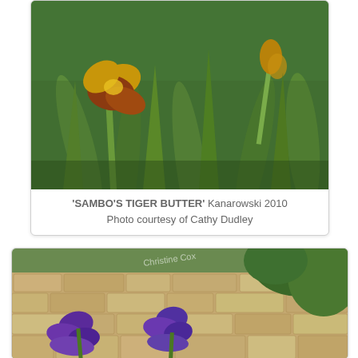[Figure (photo): Photograph of iris flowers 'Sambo's Tiger Butter' showing yellow and dark red/brown bearded iris blooms with tall green sword-like leaves against a lush green garden background.]
'SAMBO'S TIGER BUTTER' Kanarowski 2010 Photo courtesy of Cathy Dudley
[Figure (photo): Photograph of purple bearded iris flowers blooming against a rustic stone wall with other green foliage, watermark 'Christine Cox' visible in upper left.]